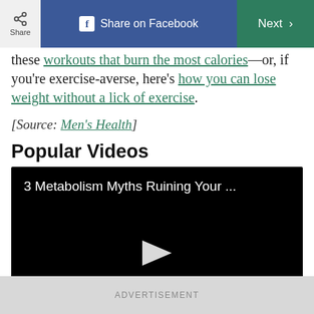Share | Share on Facebook | Next
these workouts that burn the most calories—or, if you're exercise-averse, here's how you can lose weight without a lick of exercise.
[Source: Men's Health]
Popular Videos
[Figure (screenshot): Video thumbnail with dark background showing title '3 Metabolism Myths Ruining Your ...' and a play button]
ADVERTISEMENT